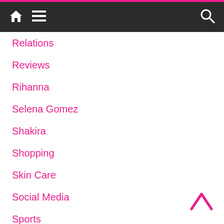Navigation bar with home, menu, and search icons
Relations
Reviews
Rihanna
Selena Gomez
Shakira
Shopping
Skin Care
Social Media
Sports
Style
Styles&Trend
Tips and Tricks
Travel
Tv Shows (partially visible)